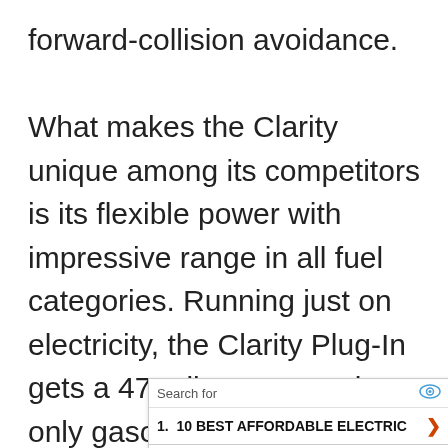forward-collision avoidance.

What makes the Clarity unique among its competitors is its flexible power with impressive range in all fuel categories. Running just on electricity, the Clarity Plug-In gets a 47-mile range. Using only gasoline, its combination MPG is 42. When the gas
[Figure (other): Advertisement overlay showing search results: 1. 10 BEST AFFORDABLE ELECTRIC, 2. HYBRID ELECTRIC VEHICLES. Footer shows 'Ad | Business Focus'.]